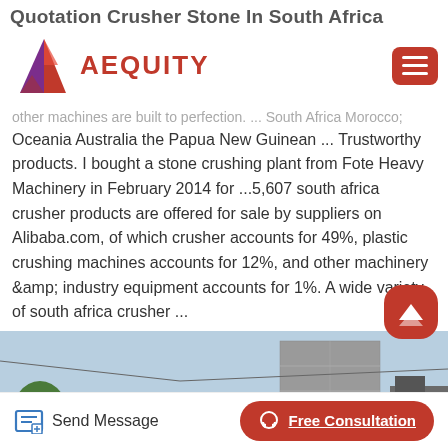Quotation Crusher Stone In South Africa
[Figure (logo): AEQUITY logo with geometric red/purple diamond shape and red text, plus hamburger menu button]
other machines are built to perfection. ... South Africa Morocco; Oceania Australia the Papua New Guinean ... Trustworthy products. I bought a stone crushing plant from Fote Heavy Machinery in February 2014 for ...5,607 south africa crusher products are offered for sale by suppliers on Alibaba.com, of which crusher accounts for 49%, plastic crushing machines accounts for 12%, and other machinery &amp; industry equipment accounts for 1%. A wide variety of south africa crusher ...
[Figure (photo): Outdoor construction/quarry scene with dirt mound, stone wall and equipment under sky]
Send Message | Free Consultation